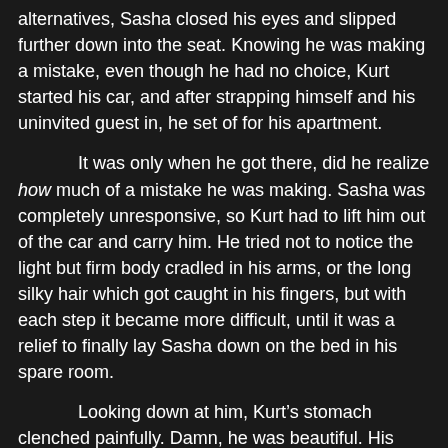alternatives, Sasha closed his eyes and slipped further down into the seat. Knowing he was making a mistake, even though he had no choice, Kurt started his car, and after strapping himself and his uninvited guest in, he set of for his apartment.
It was only when he got there, did he realize how much of a mistake he was making. Sasha was completely unresponsive, so Kurt had to lift him out of the car and carry him. He tried not to notice the light but firm body cradled in his arms, or the long silky hair which got caught in his fingers, but with each step it became more difficult, until it was a relief to finally lay Sasha down on the bed in his spare room.
Looking down at him, Kurt’s stomach clenched painfully. Damn, he was beautiful. His high cheekbones and smooth skin coupled with his pretty pink lips and snub little nose made him look more like a girl than he’d previously done while in the club. It was no wonder Kurt had mistaken him as such. And of course, that stunning length of hair had been a big contributor to his error. Distracted by it, he